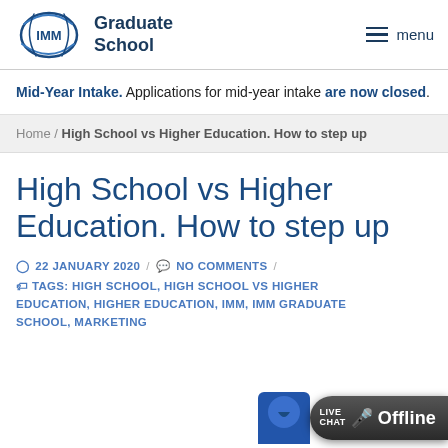[Figure (logo): IMM Graduate School logo with circular swoosh and text]
Mid-Year Intake. Applications for mid-year intake are now closed.
Home / High School vs Higher Education. How to step up
High School vs Higher Education. How to step up
22 JANUARY 2020 / NO COMMENTS /
TAGS: HIGH SCHOOL, HIGH SCHOOL VS HIGHER EDUCATION, HIGHER EDUCATION, IMM, IMM GRADUATE SCHOOL, MARKETING